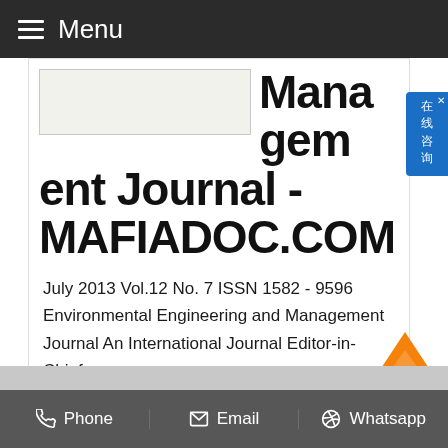Menu
[Figure (screenshot): Partial thumbnail of journal cover image]
Management Journal - MAFIADOC.COM
July 2013 Vol.12 No. 7 ISSN 1582 - 9596 Environmental Engineering and Management Journal An International Journal Editor-in-Chief: Matei Macoveanu
Get Price
Phone   Email   Whatsapp